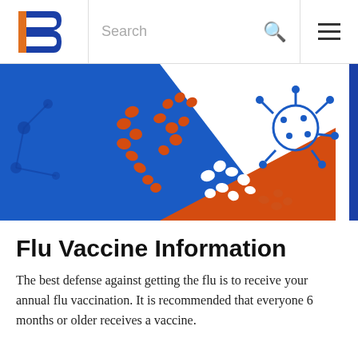[Figure (logo): Boise State University B logo in blue and orange]
[Figure (illustration): Hero banner image showing flu virus illustrations in blue, orange, and white on a blue background — virus particles depicted as colored flower/mushroom shapes against geometric triangular sections]
Flu Vaccine Information
The best defense against getting the flu is to receive your annual flu vaccination. It is recommended that everyone 6 months or older receives a vaccine.